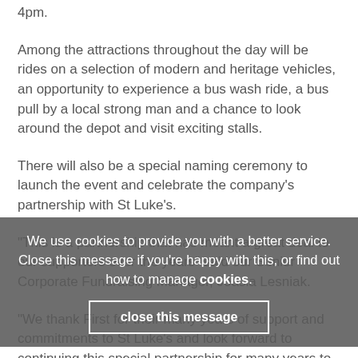4pm.
Among the attractions throughout the day will be rides on a selection of modern and heritage vehicles, an opportunity to experience a bus wash ride, a bus pull by a local strong man and a chance to look around the depot and visit exciting stalls.
There will also be a special naming ceremony to launch the event and celebrate the company's partnership with St Luke's.
“This is a partnership that has meant a great deal to our supporters over the years” said our Senior Corporate Fundraising Manager, Joasia Lesniak.
“We thank First for their many years of support and commitments to St Luke’s and look forward to continuing this special partnership for many years to come.”
Andy Metcalfe, Performance Manager at First South...
We use cookies to provide you with a better service. Close this message if you’re happy with this, or find out how to manage cookies.